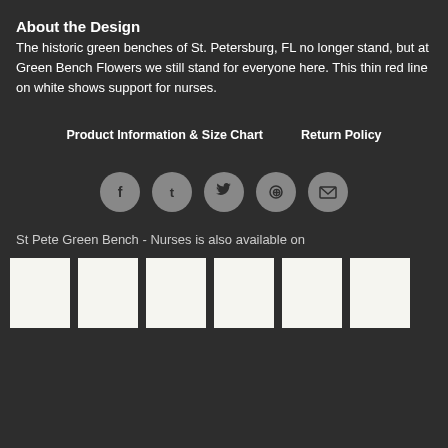About the Design
The historic green benches of St. Petersburg, FL no longer stand, but at Green Bench Flowers we still stand for everyone here. This thin red line on white shows support for nurses.
Product Information & Size Chart    Return Policy
[Figure (infographic): Five social media share icons in dark circular buttons: Facebook, Tumblr, Twitter, Pinterest, Email]
St Pete Green Bench - Nurses is also available on
[Figure (infographic): Six white product thumbnail images in a row showing available products]